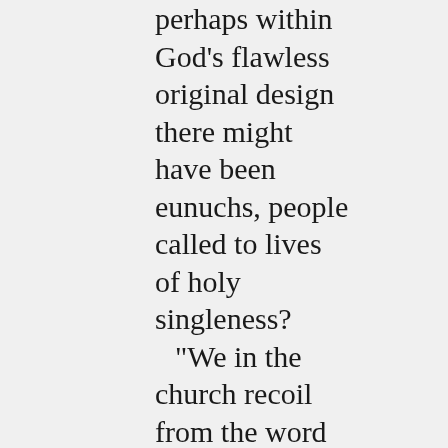perhaps within God's flawless original design there might have been eunuchs, people called to lives of holy singleness? “We in the church recoil from the word gay, from the very notion of same-sex orientation, because we know what it looks like only outside of Eden, where everything has gone